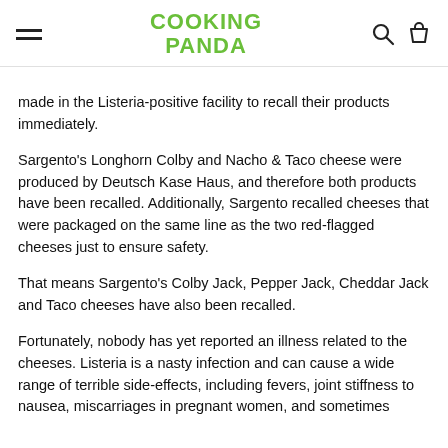COOKING PANDA
made in the Listeria-positive facility to recall their products immediately.
Sargento's Longhorn Colby and Nacho & Taco cheese were produced by Deutsch Kase Haus, and therefore both products have been recalled. Additionally, Sargento recalled cheeses that were packaged on the same line as the two red-flagged cheeses just to ensure safety.
That means Sargento's Colby Jack, Pepper Jack, Cheddar Jack and Taco cheeses have also been recalled.
Fortunately, nobody has yet reported an illness related to the cheeses. Listeria is a nasty infection and can cause a wide range of terrible side-effects, including fevers, joint stiffness to nausea, miscarriages in pregnant women, and sometimes